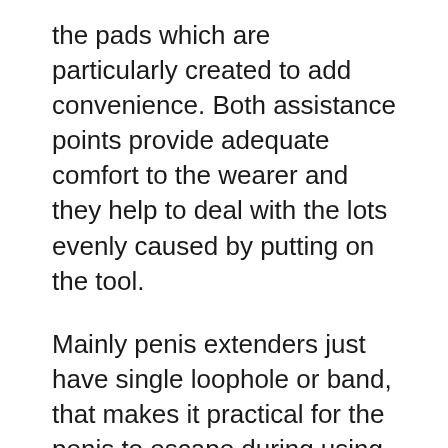the pads which are particularly created to add convenience. Both assistance points provide adequate comfort to the wearer and they help to deal with the lots evenly caused by putting on the tool.
Mainly penis extenders just have single loophole or band, that makes it practical for the penis to escape during using.
Tools with single loophole or strap can not deliver the anticipated outcomes. With the silicone tubes, the penis stays in a much better setting as well as the tension is maintained properly. These features make the Quick Extender Pro the most effective tool to obtain optimal gains. The tool holds three attributes that make it stand apart: the